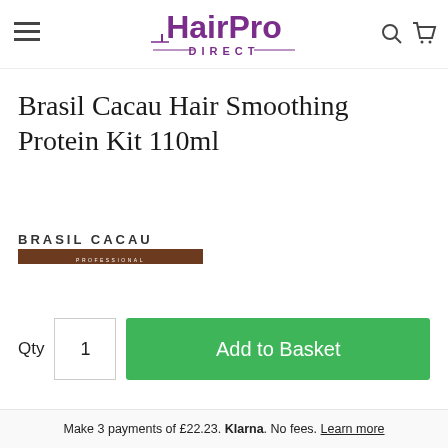[Figure (logo): HairPro Direct logo with hamburger menu icon on left and search/cart icons on right]
Brasil Cacau Hair Smoothing Protein Kit 110ml
[Figure (logo): Brasil Cacau Professional brand logo with brown bar]
Qty  1  Add to Basket
Make 3 payments of £22.23. Klarna. No fees. Learn more